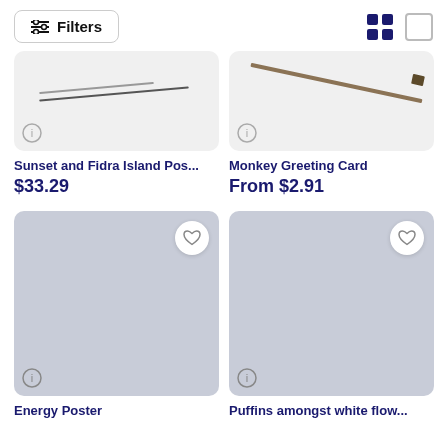[Figure (screenshot): Top navigation bar with Filters button and grid/list view toggle icons]
[Figure (photo): Product card for Sunset and Fidra Island Poster - light gray background with diagonal dark line]
Sunset and Fidra Island Pos...
$33.29
[Figure (photo): Product card for Monkey Greeting Card - light gray background with brown diagonal stick/pen]
Monkey Greeting Card
From $2.91
[Figure (photo): Product card for Energy Poster - blue-gray placeholder with heart button and info badge]
Energy Poster
[Figure (photo): Product card for Puffins amongst white flow... - blue-gray placeholder with heart button and info badge]
Puffins amongst white flow...